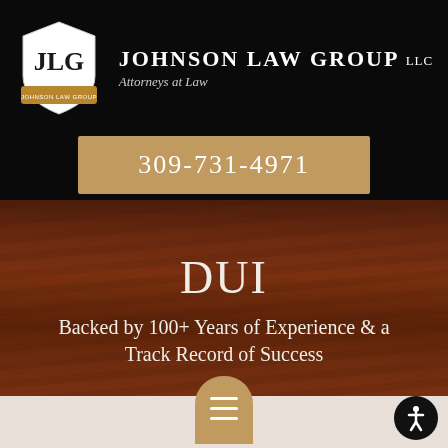[Figure (logo): JLG shield logo with Johnson Law Group LLC text and Attorneys at Law subtitle]
309-731-4971
DUI
Backed by 100+ Years of Experience & a Track Record of Success